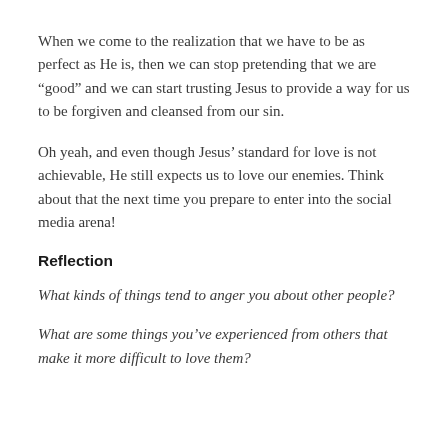When we come to the realization that we have to be as perfect as He is, then we can stop pretending that we are “good” and we can start trusting Jesus to provide a way for us to be forgiven and cleansed from our sin.
Oh yeah, and even though Jesus’ standard for love is not achievable, He still expects us to love our enemies. Think about that the next time you prepare to enter into the social media arena!
Reflection
What kinds of things tend to anger you about other people?
What are some things you’ve experienced from others that make it more difficult to love them?